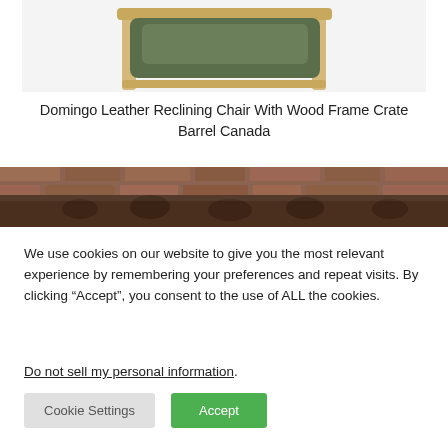[Figure (photo): Top-down or elevated view of a green leather reclining chair with a light wood frame, shown against a white background. Only the top portion of the chair is visible.]
Domingo Leather Reclining Chair With Wood Frame Crate Barrel Canada
[Figure (photo): A dark brown tufted leather sofa against a brick wall background. Only the top portion of the sofa is visible.]
We use cookies on our website to give you the most relevant experience by remembering your preferences and repeat visits. By clicking “Accept”, you consent to the use of ALL the cookies.
Do not sell my personal information.